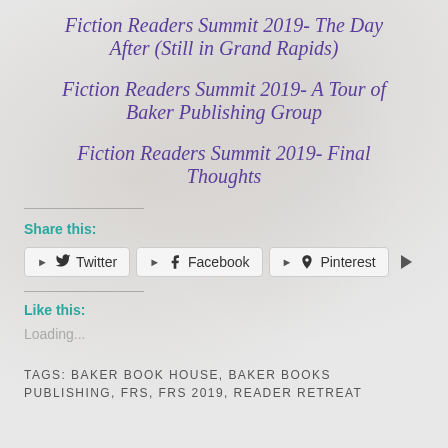Fiction Readers Summit 2019- The Day After (Still in Grand Rapids)
Fiction Readers Summit 2019- A Tour of Baker Publishing Group
Fiction Readers Summit 2019- Final Thoughts
Share this:
Twitter  Facebook  Pinterest
Like this:
Loading...
TAGS: BAKER BOOK HOUSE, BAKER BOOKS PUBLISHING, FRS, FRS 2019, READER RETREAT